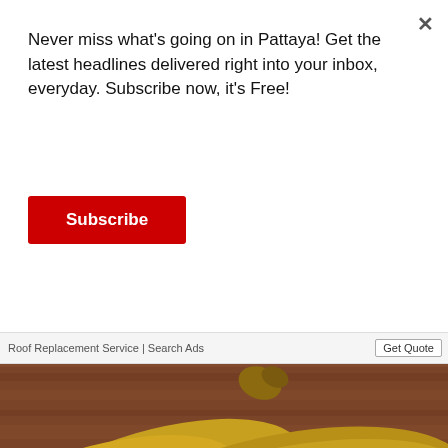Never miss what's going on in Pattaya! Get the latest headlines delivered right into your inbox, everyday. Subscribe now, it's Free!
Subscribe
Roof Replacement Service | Search Ads
Get Quote
[Figure (photo): Two overripe bananas with brown spots on a wooden surface]
infolinks
[Figure (infographic): Ad strip showing lipstick/makeup images, Ulta Beauty logo, eye makeup photo, and SHOP NOW text]